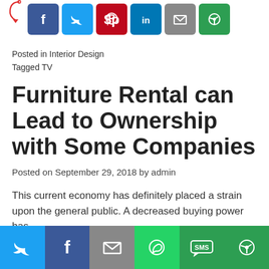[Figure (infographic): Social sharing buttons row at top: Facebook (blue), Twitter (light blue), Pinterest (red), LinkedIn (blue), Email (gray), Google/Other (green), with a red arrow pointing to them]
Posted in Interior Design
Tagged TV
Furniture Rental can Lead to Ownership with Some Companies
Posted on September 29, 2018 by admin
This current economy has definitely placed a strain upon the general public. A decreased buying power has
[Figure (infographic): Bottom social sharing bar with icons: Twitter (light blue), Facebook (dark blue), Email (gray), WhatsApp (green), SMS (green), Other/Go (green)]